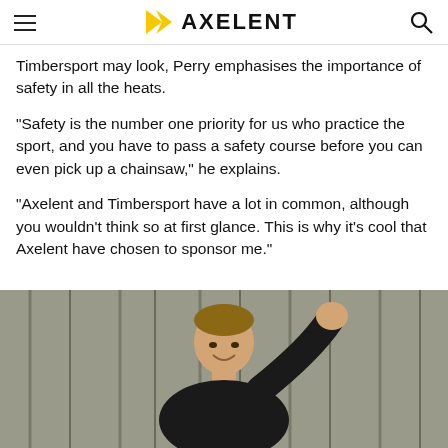AXELENT
Timbersport may look, Perry emphasises the importance of safety in all the heats.
“Safety is the number one priority for us who practice the sport, and you have to pass a safety course before you can even pick up a chainsaw,” he explains.
“Axelent and Timbersport have a lot in common, although you wouldn’t think so at first glance. This is why it’s cool that Axelent have chosen to sponsor me.”
[Figure (photo): Young smiling man raising his fist, photographed against a wooden plank background]